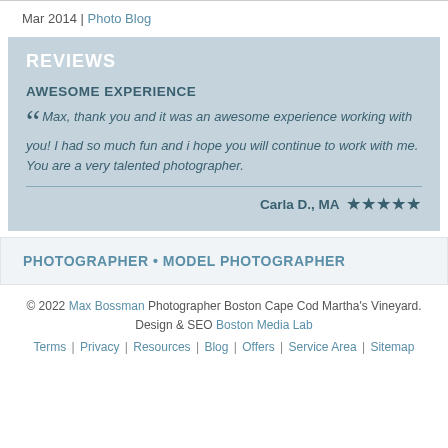Mar 2014 | Photo Blog
REVIEWS
AWESOME EXPERIENCE
Max, thank you and it was an awesome experience working with you! I had so much fun and i hope you will continue to work with me. You are a very talented photographer.
Carla D., MA ★★★★★
PHOTOGRAPHER • MODEL PHOTOGRAPHER
© 2022 Max Bossman Photographer Boston Cape Cod Martha's Vineyard. Design & SEO Boston Media Lab
Terms | Privacy | Resources | Blog | Offers | Service Area | Sitemap